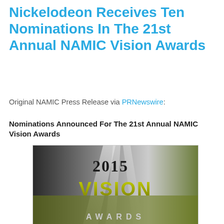Nickelodeon Receives Ten Nominations In The 21st Annual NAMIC Vision Awards
Original NAMIC Press Release via PRNewswire:
Nominations Announced For The 21st Annual NAMIC Vision Awards
[Figure (photo): 2015 Vision Awards logo — dark background with white light rays, large yellow-green 3D text reading 'VISION' and 'AWARDS', with '2015' above in black serif text]